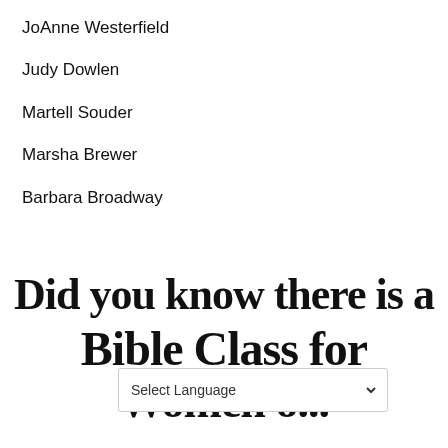JoAnne Westerfield
Judy Dowlen
Martell Souder
Marsha Brewer
Barbara Broadway
Did you know there is a Bible Class for Women on Morning?